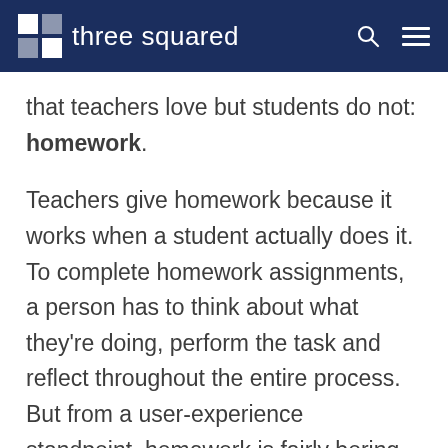three squared
that teachers love but students do not: homework.
Teachers give homework because it works when a student actually does it. To complete homework assignments, a person has to think about what they’re doing, perform the task and reflect throughout the entire process. But from a user-experience standpoint, homework is fairly boring – it doesn’t